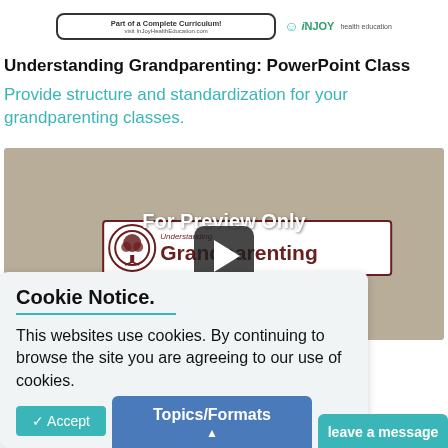[Figure (screenshot): Product box showing 'Part of a Complete Curriculum!' with visit URL and iNJOY health education logo]
Understanding Grandparenting: PowerPoint Class
Provide structure and standardization for your grandparenting classes.
[Figure (screenshot): Video preview thumbnail showing 'For Preview Only' overlay text and 'Understanding Grandparenting' banner with tree logo and play button]
Cookie Notice.
This websites use cookies. By continuing to browse the site you are agreeing to our use of cookies.
✓ Accept   Close
Topics/Formats
leave a message